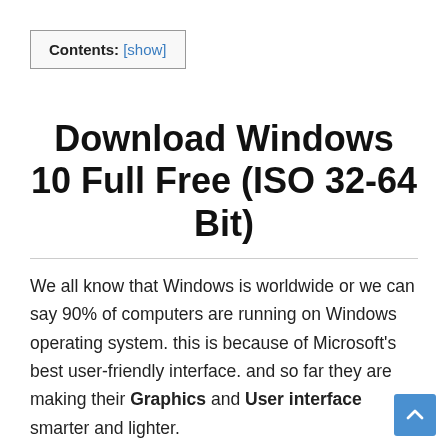Contents: [show]
Download Windows 10 Full Free (ISO 32-64 Bit)
We all know that Windows is worldwide or we can say 90% of computers are running on Windows operating system. this is because of Microsoft's best user-friendly interface. and so far they are making their Graphics and User interface smarter and lighter.